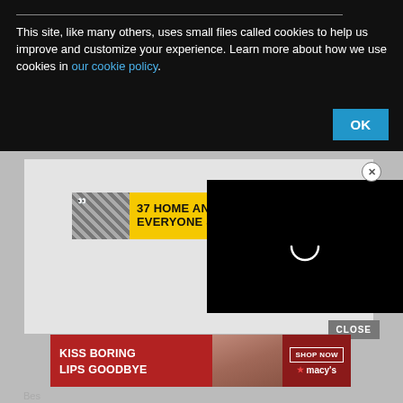This site, like many others, uses small files called cookies to help us improve and customize your experience. Learn more about how we use cookies in our cookie policy.
[Figure (screenshot): Cookie consent overlay on dark background with OK button]
[Figure (screenshot): Advertisement banner: 37 HOME AND... EVERYONE S... with yellow background and food image]
[Figure (screenshot): Black video loading overlay with spinner/loading circle]
CLOSE
[Figure (screenshot): Macy's advertisement: KISS BORING LIPS GOODBYE with SHOP NOW button and woman's face]